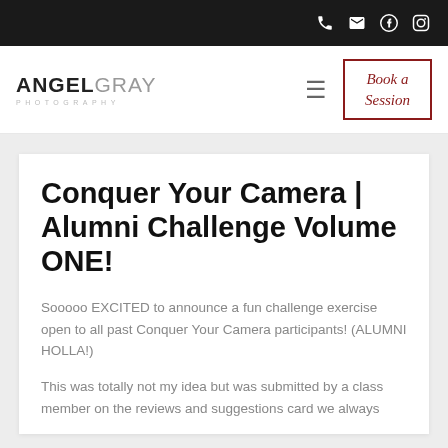Angel Gray Photography — navigation bar with phone, email, Facebook, Instagram icons and Book a Session button
Conquer Your Camera | Alumni Challenge Volume ONE!
Sooooo EXCITED to announce a fun challenge exercise open to all past Conquer Your Camera participants! (ALUMNI HOLLA!)
This was totally not my idea but was submitted by a class member on the reviews and suggestions card we always